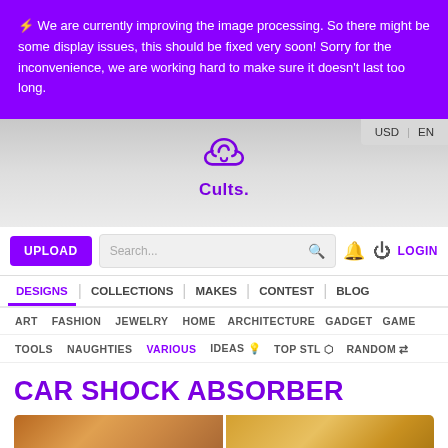⚡ We are currently improving the image processing. So there might be some display issues, this should be fixed very soon! Sorry for the inconvenience, we are working hard to make sure it doesn't last too long.
[Figure (logo): Cults logo with purple cloud/swirl icon and brand name 'Cults.' in purple]
USD | EN
UPLOAD | Search... | LOGIN
DESIGNS | COLLECTIONS | MAKES | CONTEST | BLOG
ART | FASHION | JEWELRY | HOME | ARCHITECTURE | GADGET | GAME
TOOLS | NAUGHTIES | VARIOUS | IDEAS | TOP STL | RANDOM
CAR SHOCK ABSORBER
[Figure (photo): Two thumbnail images of a 3D printed car shock absorber component in orange/yellow plastic]